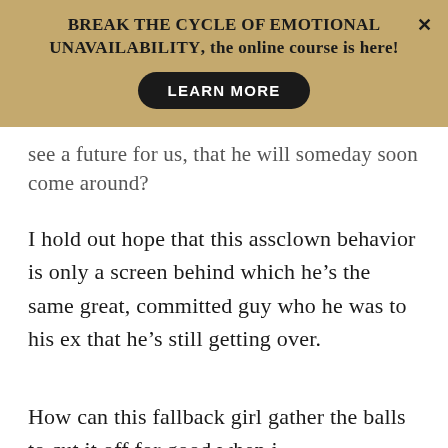BREAK THE CYCLE OF EMOTIONAL UNAVAILABILITY, the online course is here!
LEARN MORE
see a future for us, that he will someday soon come around?
I hold out hope that this assclown behavior is only a screen behind which he’s the same great, committed guy who he was to his ex that he’s still getting over.
How can this fallback girl gather the balls to cut it off for good when i